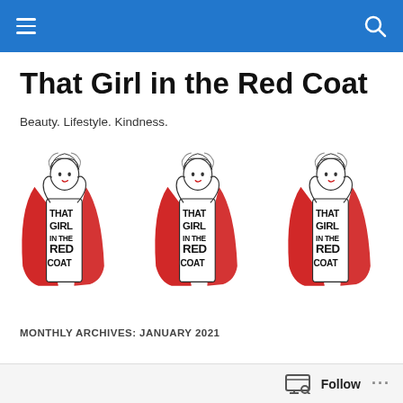Navigation bar with menu and search icons
That Girl in the Red Coat
Beauty. Lifestyle. Kindness.
[Figure (illustration): Three repeated illustrations of a girl in a red coat, hand-drawn style, with text on the body reading THAT GIRL IN THE RED COAT]
MONTHLY ARCHIVES: JANUARY 2021
Follow ...